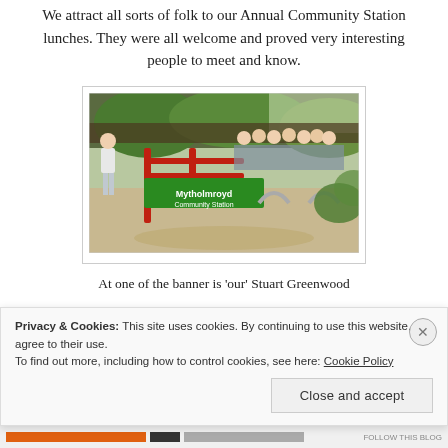We attract all sorts of folk to our Annual Community Station lunches. They were all welcome and proved very interesting people to meet and know.
[Figure (photo): Group of people standing behind a green Mytholmroyd banner/sign, outdoors near a railway station with red metal railings and greenery in the background. A man in white shirt stands to the left holding the banner.]
At one of the banner is 'our' Stuart Greenwood
Privacy & Cookies: This site uses cookies. By continuing to use this website, you agree to their use.
To find out more, including how to control cookies, see here: Cookie Policy
Close and accept